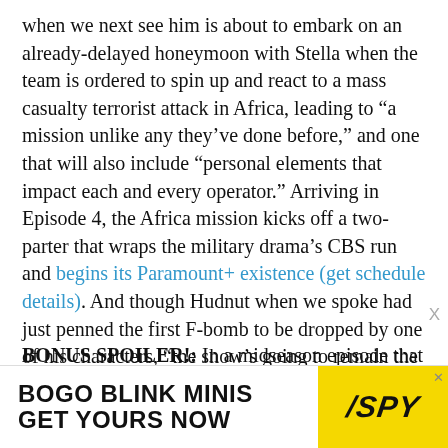when we next see him is about to embark on an already-delayed honeymoon with Stella when the team is ordered to spin up and react to a mass casualty terrorist attack in Africa, leading to “a mission unlike any they’ve done before,” and one that will also include “personal elements that impact each and every operator.” Arriving in Episode 4, the Africa mission kicks off a two-parter that wraps the military drama’s CBS run and begins its Paramount+ existence (get schedule details). And though Hudnut when we spoke had just penned the first F-bomb to be dropped by one of his characters, “the show’s going to remain the show” in its new streaming home.
BONUS SPOILER!: In a midseason episode that had to be rewritten in the wake of recent events,
[Figure (other): Advertisement banner: BOGO BLINK MINIS / GET YOURS NOW with SPY logo on yellow background]